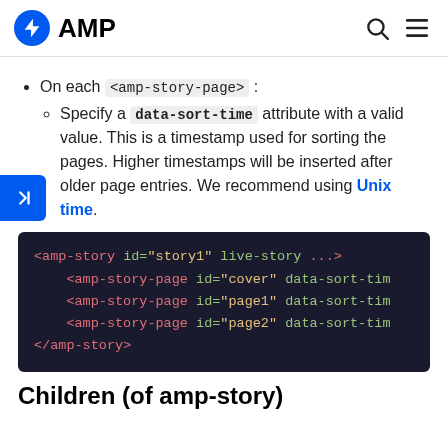AMP
On each <amp-story-page>:
Specify a data-sort-time attribute with a valid value. This is a timestamp used for sorting the pages. Higher timestamps will be inserted after older page entries. We recommend using Unix time.
[Figure (screenshot): Code block showing AMP HTML markup: <amp-story id="story1" live-story ...> with amp-story-page children having id and data-sort-time attributes, followed by </amp-story>]
Children (of amp-story)